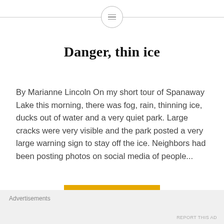Danger, thin ice
By Marianne Lincoln On my short tour of Spanaway Lake this morning, there was fog, rain, thinning ice, ducks out of water and a very quiet park. Large cracks were very visible and the park posted a very large warning sign to stay off the ice. Neighbors had been posting photos on social media of people...
READ MORE
Advertisements